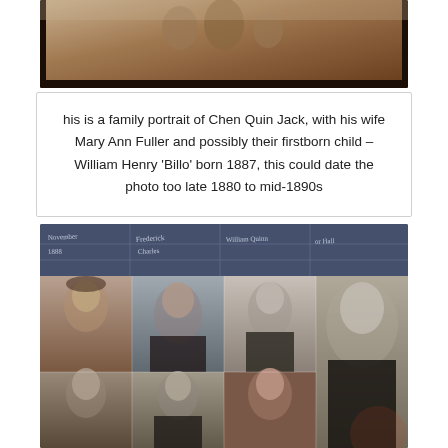[Figure (photo): Antique sepia-toned family portrait photograph, partially visible from top, showing dark bordered card photograph]
his is a family portrait of Chen Quin Jack, with his wife Mary Ann Fuller and possibly their firstborn child – William Henry 'Billo' born 1887, this could date the photo too late 1880 to mid-1890s
[Figure (photo): Collage of sepia and black-and-white portrait photographs of multiple people, including elderly man in white shirt, women, and young men in formal attire, with a document/register visible at the top]